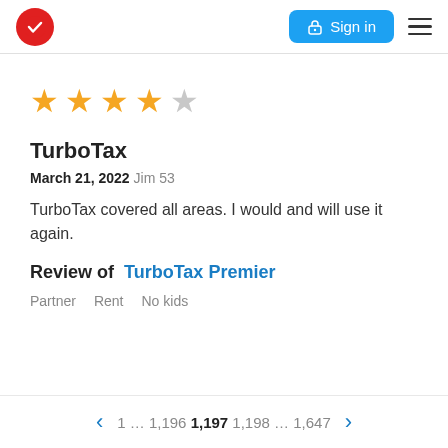TurboTax logo | Sign in | Menu
[Figure (other): 4 out of 5 stars rating]
TurboTax
March 21, 2022 Jim 53
TurboTax covered all areas. I would and will use it again.
Review of  TurboTax Premier
Partner   Rent   No kids
1 … 1,196  1,197  1,198 … 1,647